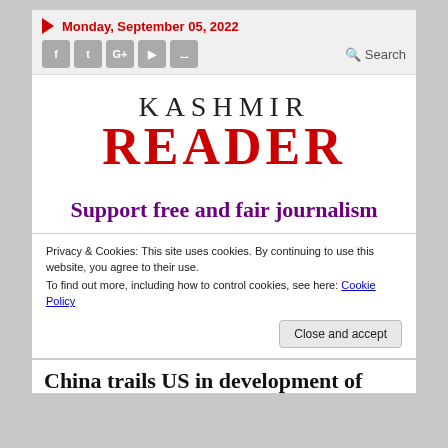Monday, September 05, 2022
KASHMIR READER
Support free and fair journalism
Privacy & Cookies: This site uses cookies. By continuing to use this website, you agree to their use.
To find out more, including how to control cookies, see here: Cookie Policy
Close and accept
China trails US in development of